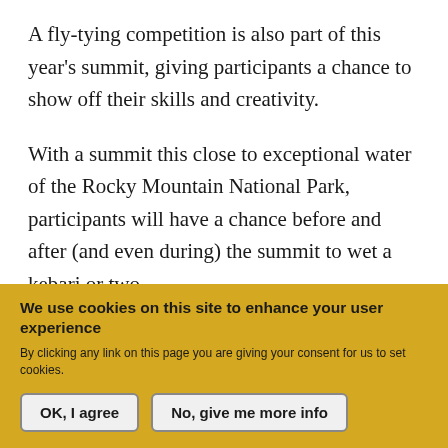A fly-tying competition is also part of this year's summit, giving participants a chance to show off their skills and creativity.
With a summit this close to exceptional water of the Rocky Mountain National Park, participants will have a chance before and after (and even during) the summit to wet a kebari or two.
Steve Schweitzer, author of A Fly Fishing Guide to Rocky Mountain National Park, will be joining…
We use cookies on this site to enhance your user experience
By clicking any link on this page you are giving your consent for us to set cookies.
OK, I agree
No, give me more info